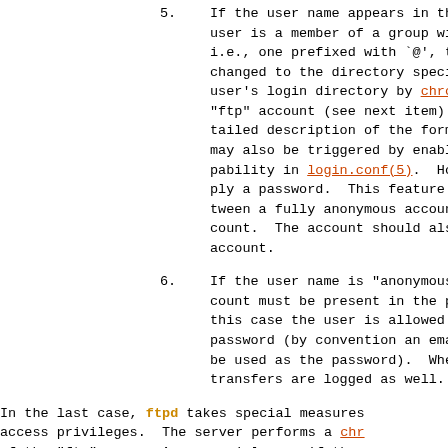5. If the user name appears in the file, or the user is a member of a group with a name, i.e., one prefixed with `@', the shell is changed to the directory specified as the user's login directory by chroot(2) unless overridden by the "ftp" account (see next item). See the ftpd(8) man page for a detailed description of the format of this file. This may also be triggered by enabling the guest capability in login.conf(5). However, the user must supply a password. This feature is intended as a compromise between a fully anonymous account and a fully privileged account. The account should also be set up similar to the anonymous account.
6. If the user name is "anonymous" or "ftp", an account must be present in the password file. In this case the user is allowed to log in by supplying a password (by convention an email address should be used as the password). When this occurs, file transfers are logged as well.
In the last case, ftpd takes special measures to restrict the client's access privileges. The server performs a chroot(2) to the home directory of the "ftp" user. As a special case if the home directory pathname contains the /./ separator, ftpd uses the name of the directory to do chroot(2) to, and change the current directory to afterwards. The typical case would be /usr/local/ftp/./pub. In order to avoid problems the "ftp" account ...